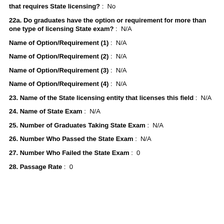that requires State licensing? : No
22a. Do graduates have the option or requirement for more than one type of licensing State exam? : N/A
Name of Option/Requirement (1) : N/A
Name of Option/Requirement (2) : N/A
Name of Option/Requirement (3) : N/A
Name of Option/Requirement (4) : N/A
23. Name of the State licensing entity that licenses this field : N/A
24. Name of State Exam : N/A
25. Number of Graduates Taking State Exam : N/A
26. Number Who Passed the State Exam : N/A
27. Number Who Failed the State Exam : 0
28. Passage Rate : 0